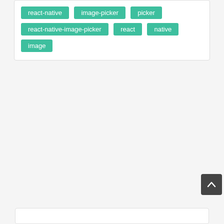react-native image-picker picker react-native-image-picker react native image
[Figure (other): Scroll-to-top button with upward chevron arrow, dark background, bottom-right corner]